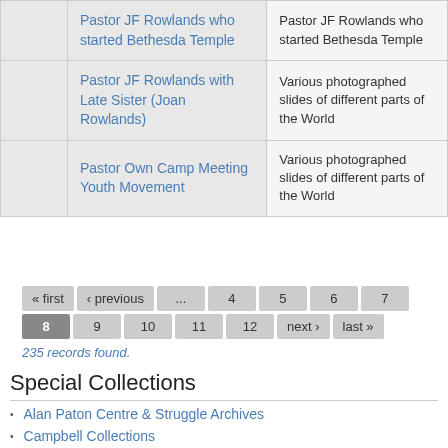|  |  |  |
| --- | --- | --- |
|  | Pastor JF Rowlands who started Bethesda Temple | Pastor JF Rowlands who started Bethesda Temple |
|  | Pastor JF Rowlands with Late Sister (Joan Rowlands) | Various photographed slides of different parts of the World |
|  | Pastor Own Camp Meeting Youth Movement | Various photographed slides of different parts of the World |
« first ‹ previous ... 4 5 6 7 8 9 10 11 12 next › last »
235 records found.
Special Collections
Alan Paton Centre & Struggle Archives
Campbell Collections